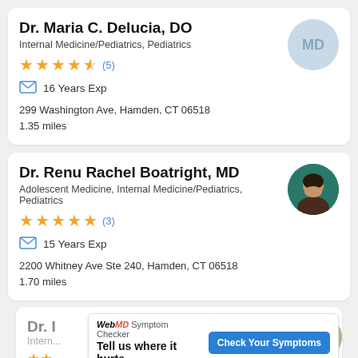Dr. Maria C. Delucia, DO
Internal Medicine/Pediatrics, Pediatrics
★★★★½ (5)
16 Years Exp
299 Washington Ave, Hamden, CT 06518
1.35 miles
Dr. Renu Rachel Boatright, MD
Adolescent Medicine, Internal Medicine/Pediatrics, Pediatrics
★★★★★ (3)
15 Years Exp
2200 Whitney Ave Ste 240, Hamden, CT 06518
1.70 miles
Dr. I...
Intern...
WebMD Symptom Checker
Tell us where it hurts.
ADVERTISEMENT
Check Your Symptoms